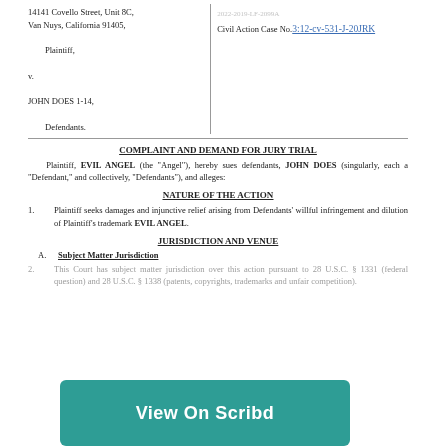14141 Covello Street, Unit 8C, Van Nuys, California 91405,
Plaintiff,
v.
JOHN DOES 1-14,
Defendants.
Civil Action Case No. 3:12-cv-531-J-20JRK
COMPLAINT AND DEMAND FOR JURY TRIAL
Plaintiff, EVIL ANGEL (the "Angel"), hereby sues defendants, JOHN DOES (singularly, each a "Defendant," and collectively, "Defendants"), and alleges:
NATURE OF THE ACTION
1.    Plaintiff seeks damages and injunctive relief arising from Defendants' willful infringement and dilution of Plaintiff's trademark EVIL ANGEL.
JURISDICTION AND VENUE
A.    Subject Matter Jurisdiction
2.    This Court has subject matter jurisdiction over this action pursuant to 28 U.S.C. § 1331 (federal question) and 28 U.S.C. § 1338 (patents, copyrights, trademarks and unfair competition).
[Figure (screenshot): Scribd 'View On Scribd' overlay button in teal/green color]
1 of 14
View this document on Scribd
Follow